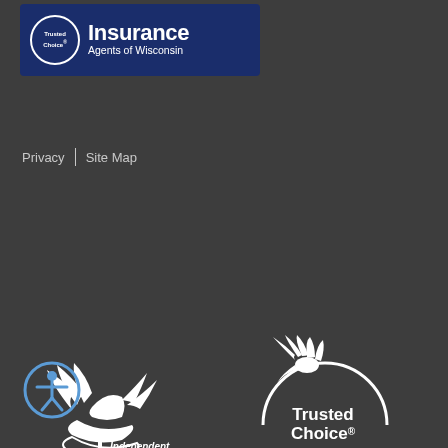[Figure (logo): Independent Insurance Agents of Wisconsin banner logo with Trusted Choice badge on navy blue background]
Privacy | Site Map
[Figure (logo): Independent Insurance Agent logo with eagle/bird graphic in white]
[Figure (logo): Trusted Choice Independent Insurance Agent logo with bird graphic in white circular design]
[Figure (logo): Accessibility icon - person in circle]